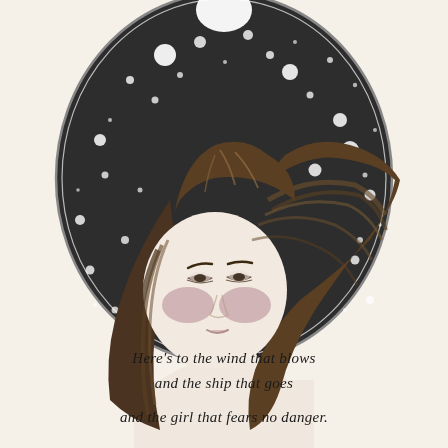[Figure (illustration): Whimsical pencil and watercolor illustration of a young girl with long flowing brown hair blowing in the wind, set against a dark oval starry night sky background with white dots/stars of various sizes and a moon at the top. The girl has rosy pink-mauve cheeks, downcast eyes, and bare shoulders. The oval frame has a double-line border. The overall background of the page is a warm cream/ivory color.]
Here's to the wind that blows and the ship that goes and the girl that fears no danger.